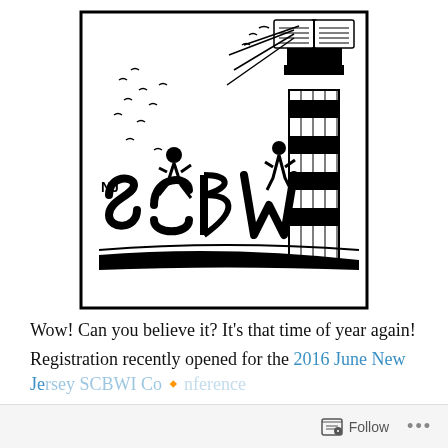[Figure (logo): NJ SCBWI logo: black and white illustration of a striped lighthouse with an open book on top emitting light rays, birds flying in the background, and two children silhouettes standing on large bubble letters reading 'NJ SCBWI', all enclosed in a rectangular border.]
Wow! Can you believe it? It's that time of year again! Registration recently opened for the 2016 June New Jersey SCBWI Conference...
Follow ...